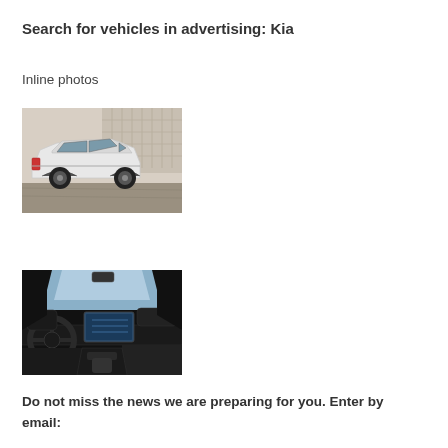Search for vehicles in advertising: Kia
Inline photos
[Figure (photo): Kia wagon/estate car exterior, rear three-quarter view, white/silver color, parked in front of a modern building]
[Figure (photo): Kia car interior view, showing black leather seats, steering wheel, dashboard and infotainment screen]
Do not miss the news we are preparing for you. Enter by email: